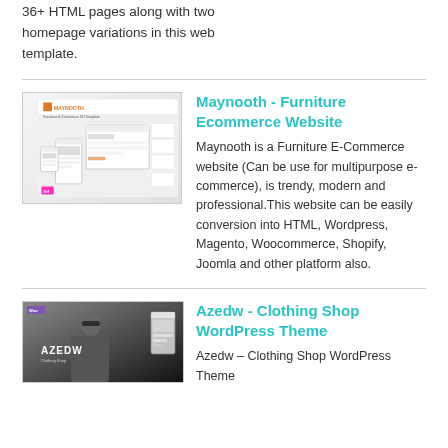36+ HTML pages along with two homepage variations in this web template.
[Figure (screenshot): Maynooth Furniture E-Commerce XD Template screenshot showing desktop, tablet and phone mockups]
Maynooth - Furniture Ecommerce Website
Maynooth is a Furniture E-Commerce website (Can be use for multipurpose e-commerce), is trendy, modern and professional.This website can be easily conversion into HTML, Wordpress, Magento, Woocommerce, Shopify, Joomla and other platform also.
[Figure (screenshot): Azedw Clothing Shop WordPress Theme screenshot showing model wearing sunglasses with phone mockup]
Azedw - Clothing Shop WordPress Theme
Azedw – Clothing Shop WordPress Theme